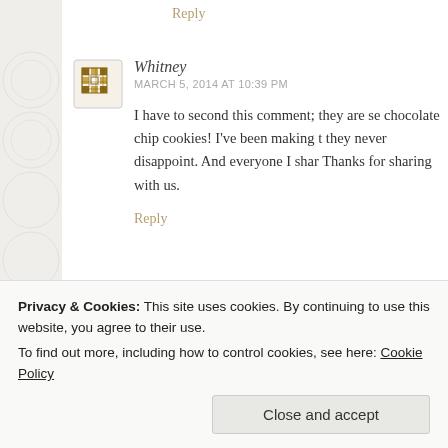Reply
Whitney
MARCH 5, 2014 AT 10:39 PM
I have to second this comment; they are se... chocolate chip cookies! I've been making t... they never disappoint. And everyone I shar... Thanks for sharing with us.
Reply
Sarah
MARCH 6, 2014 AT 9:29 AM
Privacy & Cookies: This site uses cookies. By continuing to use this website, you agree to their use. To find out more, including how to control cookies, see here: Cookie Policy
Close and accept